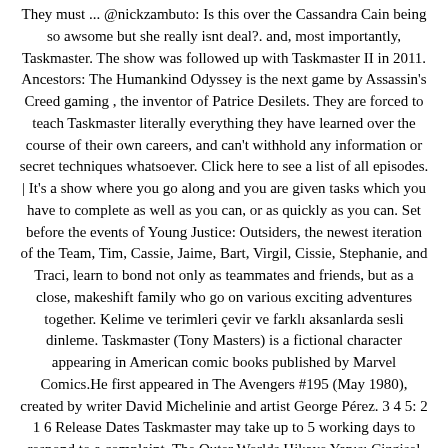They must ... @nickzambuto: Is this over the Cassandra Cain being so awsome but she really isnt deal?. and, most importantly, Taskmaster. The show was followed up with Taskmaster II in 2011. Ancestors: The Humankind Odyssey is the next game by Assassin's Creed gaming , the inventor of Patrice Desilets. They are forced to teach Taskmaster literally everything they have learned over the course of their own careers, and can't withhold any information or secret techniques whatsoever. Click here to see a list of all episodes. | It's a show where you go along and you are given tasks which you have to complete as well as you can, or as quickly as you can. Set before the events of Young Justice: Outsiders, the newest iteration of the Team, Tim, Cassie, Jaime, Bart, Virgil, Cissie, Stephanie, and Traci, learn to bond not only as teammates and friends, but as a close, makeshift family who go on various exciting adventures together. Kelime ve terimleri çevir ve farklı aksanlarda sesli dinleme. Taskmaster (Tony Masters) is a fictional character appearing in American comic books published by Marvel Comics.He first appeared in The Avengers #195 (May 1980), created by writer David Michelinie and artist George Pérez. 3 4 5: 2 1 6 Release Dates Taskmaster may take up to 5 working days to respond to a complaint. The Outer Worlds Hikaye Yapısı Çizgisel Olacak. @CadenceV2 said:. 'I'll use a lobster' - Some of Tim Vine's best moments on Taskmaster. Tim Cain currently works at the Faculty of Education, Edge Hill University, where he researches in Research Utilisation and Teacher Education. Related Videos Taskmaster: Romesh Ranganathan, 3: 2 2 3: 2 4 Special: